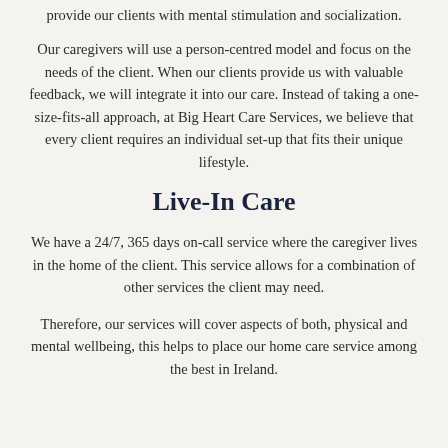provide our clients with mental stimulation and socialization.
Our caregivers will use a person-centred model and focus on the needs of the client. When our clients provide us with valuable feedback, we will integrate it into our care. Instead of taking a one-size-fits-all approach, at Big Heart Care Services, we believe that every client requires an individual set-up that fits their unique lifestyle.
Live-In Care
We have a 24/7, 365 days on-call service where the caregiver lives in the home of the client. This service allows for a combination of other services the client may need.
Therefore, our services will cover aspects of both, physical and mental wellbeing, this helps to place our home care service among the best in Ireland.